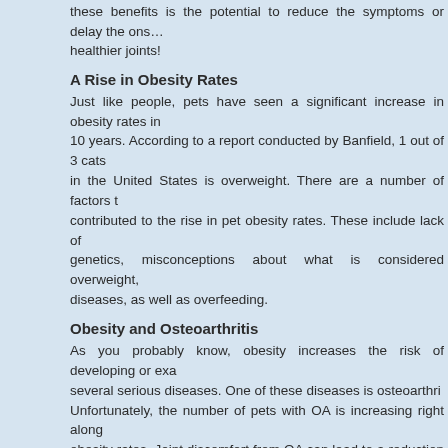these benefits is the potential to reduce the symptoms or delay the onset of osteoarthritis by maintaining healthier joints!
A Rise in Obesity Rates
Just like people, pets have seen a significant increase in obesity rates in the past 10 years. According to a report conducted by Banfield, 1 out of 3 cats and dogs in the United States is overweight. There are a number of factors that have contributed to the rise in pet obesity rates. These include lack of exercise, genetics, misconceptions about what is considered overweight, endocrine diseases, as well as overfeeding.
Obesity and Osteoarthritis
As you probably know, obesity increases the risk of developing or exacerbating several serious diseases. One of these diseases is osteoarthritis (OA). Unfortunately, the number of pets with OA is increasing right along with pet obesity rates. Joint discomfort from OA can lead to a reduction in activity levels, which can then lead to weight gain and more stress on the joints. It's a v
Help your Pet Lose Weight to Reduce the Symptoms of Osteoarthri
The good news is weight loss may contribute to a reduction in osteoarth help your pet lose weight. One method is physical activity. As we discu with a number of benefits including weight loss. A simple exercise like w joint health by improving joint fluid circulation. Your veterinarian is a weight.
As always, if your pet has osteoarthritis and you're curious about trea veterinarian or contact us to receive a list of VetStem providers in your a